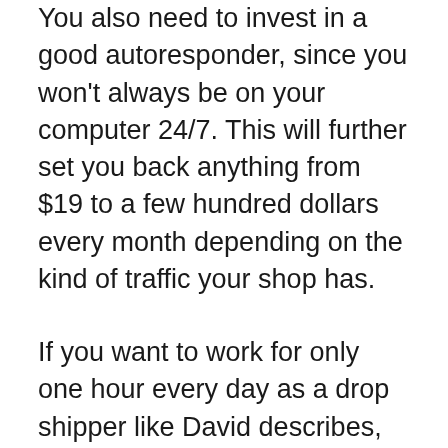You also need to invest in a good autoresponder, since you won't always be on your computer 24/7. This will further set you back anything from $19 to a few hundred dollars every month depending on the kind of traffic your shop has.
If you want to work for only one hour every day as a drop shipper like David describes, you will need to hire someone to take care of the management aspect of the business. Drop shipping is very hands-on, so you need someone to deal with customers, handle complaints and refunds, and monitor